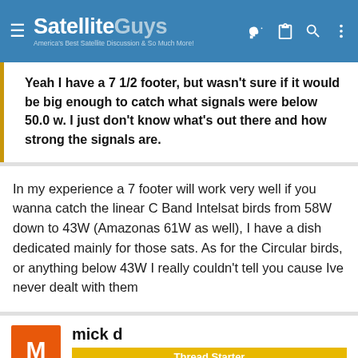SatelliteGuys — America's Best Satellite Discussion & So Much More!
Yeah I have a 7 1/2 footer, but wasn't sure if it would be big enough to catch what signals were below 50.0 w. I just don't know what's out there and how strong the signals are.
In my experience a 7 footer will work very well if you wanna catch the linear C Band Intelsat birds from 58W down to 43W (Amazonas 61W as well), I have a dish dedicated mainly for those sats. As for the Circular birds, or anything below 43W I really couldn't tell you cause Ive never dealt with them
mick d
Thread Starter
SatelliteGuys Family